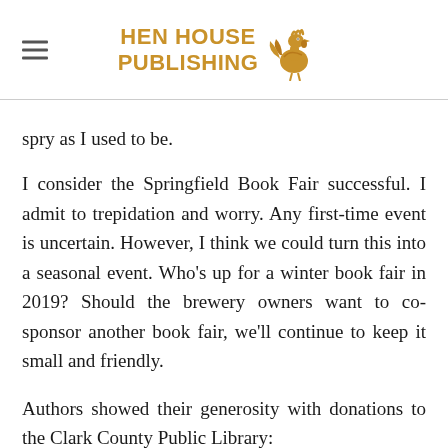HEN HOUSE PUBLISHING
spry as I used to be.
I consider the Springfield Book Fair successful. I admit to trepidation and worry. Any first-time event is uncertain. However, I think we could turn this into a seasonal event. Who's up for a winter book fair in 2019? Should the brewery owners want to co-sponsor another book fair, we'll continue to keep it small and friendly.
Authors showed their generosity with donations to the Clark County Public Library: